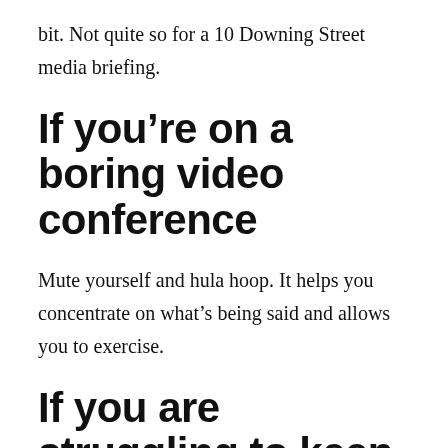bit. Not quite so for a 10 Downing Street media briefing.
If you’re on a boring video conference
Mute yourself and hula hoop. It helps you concentrate on what’s being said and allows you to exercise.
If you are struggling to keep up with a list of